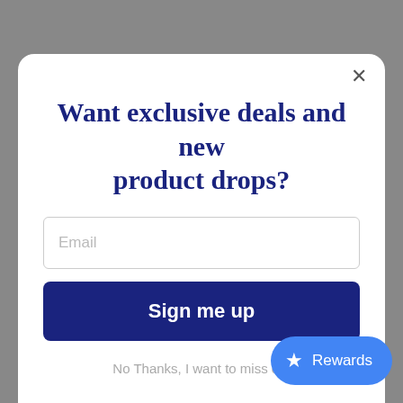Want exclusive deals and new product drops?
Email
Sign me up
No Thanks, I want to miss out
Rewards